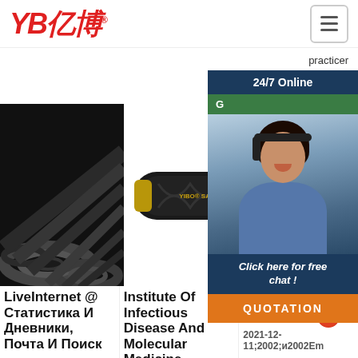YB亿博® — navigation header with hamburger menu
practicer
[Figure (screenshot): 24/7 Online chat widget with photo of woman customer service representative, 'Click here for free chat!' text, green G button, and orange QUOTATION button]
[Figure (photo): Black industrial rubber pipes/hoses stacked together, viewed from the end]
[Figure (photo): Black hydraulic hose labeled YIBO SAE100R9]
[Figure (photo): Small black hose fitting]
LiveInternet @ Статистика И Дневники, Почта И Поиск
Institute Of Infectious Disease And Molecular Medicine
Major Research Groupings
2021-12-11;2002;и2002Em